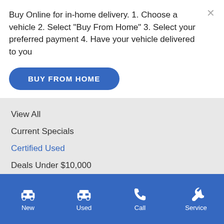Buy Online for in-home delivery. 1. Choose a vehicle 2. Select "Buy From Home" 3. Select your preferred payment 4. Have your vehicle delivered to you
BUY FROM HOME
View All
Current Specials
Certified Used
Deals Under $10,000
Shopping Tools
Schedule Service
Schedule Test Drive
New | Used | Call | Service